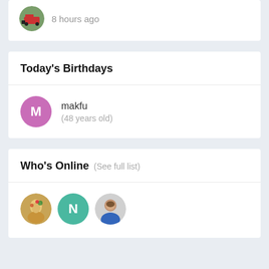8 hours ago
Today's Birthdays
makfu
(48 years old)
Who's Online (See full list)
[Figure (photo): Three circular user avatars showing online users]